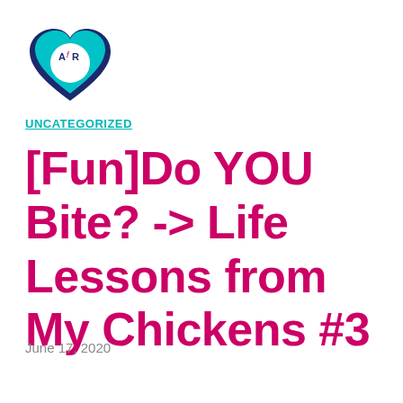[Figure (logo): Heart-shaped logo with teal/navy colors and 'AfR' text in the center, representing a blog or website logo]
UNCATEGORIZED
[Fun]Do YOU Bite? -> Life Lessons from My Chickens #3
June 17, 2020